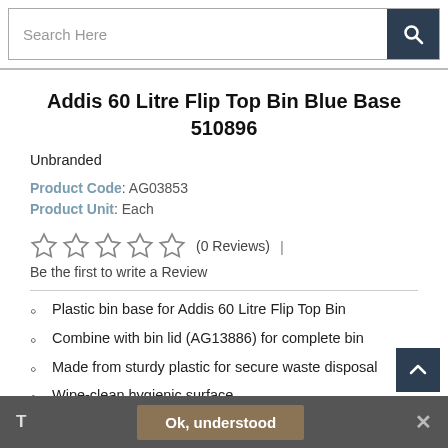Search Here
Addis 60 Litre Flip Top Bin Blue Base 510896
Unbranded
Product Code: AG03853
Product Unit: Each
(0 Reviews) | Be the first to write a Review
Plastic bin base for Addis 60 Litre Flip Top Bin
Combine with bin lid (AG13886) for complete bin
Made from sturdy plastic for secure waste disposal
Wipe-clean hygienic surface
T  Ok, understood  ×